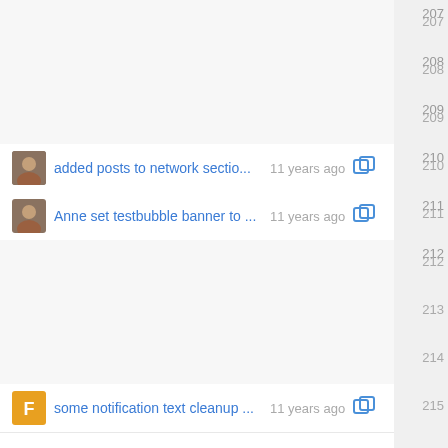added posts to network sectio... 11 years ago  210
Anne set testbubble banner to ... 11 years ago  211
some notification text cleanup ... 11 years ago  215
Anne set testbubble banner to ... 11 years ago  216
added posts to network sectio... 11 years ago  219
Anne set testbubble banner to ... 11 years ago  220
fix for 'show all notifications' o... 11 years ago  221
Anne set testbubble banner to ... 11 years ago  226